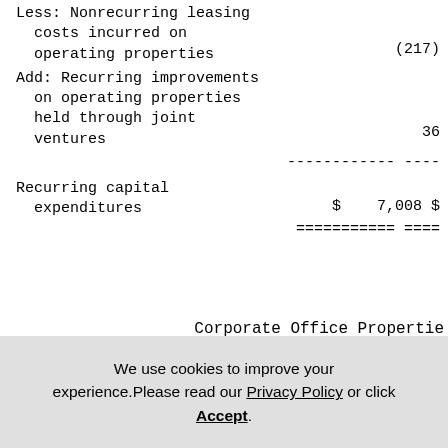Less: Nonrecurring leasing costs incurred on operating properties   (217)
Add: Recurring improvements on operating properties held through joint ventures   36
------------ ----
Recurring capital expenditures   $ 7,008 $
=========== ====
Corporate Office Properties
We use cookies to improve your experience. Please read our Privacy Policy or click Accept.